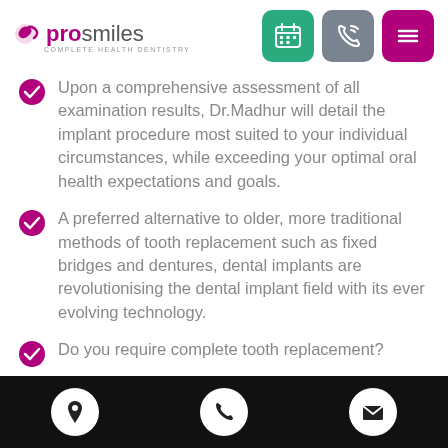[Figure (logo): ProSmiles Complete Health Dentistry logo with pink swoosh icon and nav buttons (calendar, phone, menu)]
Upon a comprehensive assessment of all examination results, Dr.Madhur will detail the implant procedure most suited to your individual circumstances, while exceeding your optimal oral health expectations and goals.
A preferred alternative to older, more traditional methods of tooth replacement such as fixed bridges and dentures, dental implants are revolutionising the dental implant field with its ever evolving technology.
Do you require complete tooth replacement?
[Figure (other): Black footer bar with three white circular icons: location pin, phone, envelope]